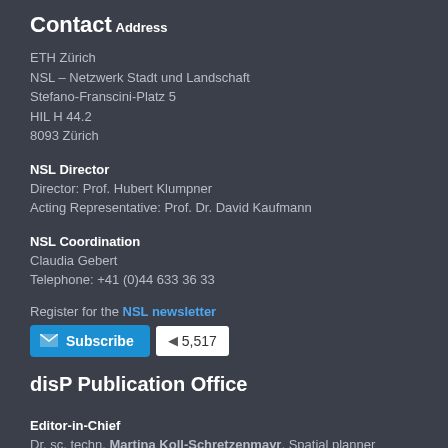Contact
Address
ETH Zürich
NSL – Netzwerk Stadt und Landschaft
Stefano-Franscini-Platz 5
HIL H 44.2
8093 Zürich
NSL Director
Director: Prof. Hubert Klumpner
Acting Representative: Prof. Dr. David Kaufmann
NSL Coordination
Claudia Gebert
Telephone: +41 (0)44 633 36 33
Register for the NSL newsletter
[Figure (infographic): Subscribe button with envelope icon and subscriber count 5,517]
disP Publication Office
Editor-in-Chief
Dr. sc. techn. Martina Koll-Schretzenmayr, Spatial planner ETH/NDS, Telephone +41 (0)44 633 29 47
Editorial Assistant